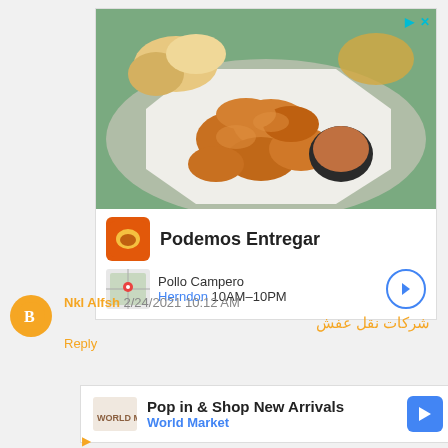[Figure (photo): Advertisement photo showing fried chicken pieces with dipping sauce on a plate, with bread rolls in the background on a teal wooden surface.]
Podemos Entregar
Pollo Campero
Herndon 10AM–10PM
Nkl Alfsh 2/24/2021 10:12 AM
شركات نقل عفش
Reply
[Figure (photo): Small store logo thumbnail for World Market ad]
Pop in & Shop New Arrivals
World Market